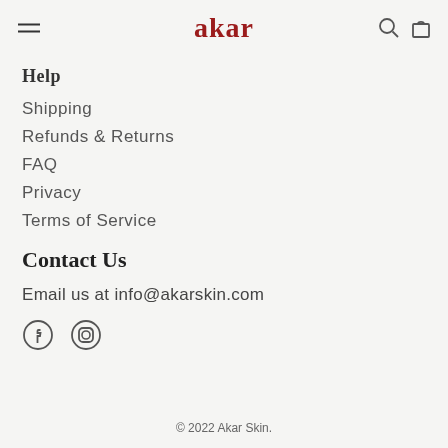akar
Help
Shipping
Refunds & Returns
FAQ
Privacy
Terms of Service
Contact Us
Email us at info@akarskin.com
[Figure (illustration): Facebook and Instagram social media icons]
© 2022 Akar Skin.